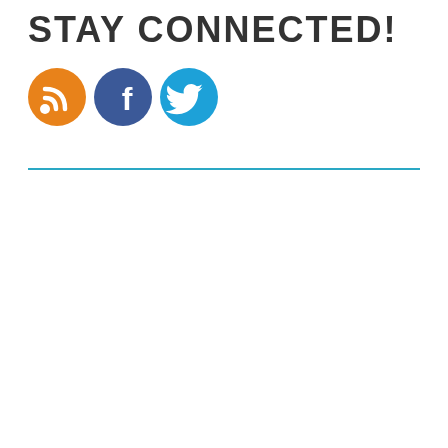STAY CONNECTED!
[Figure (illustration): Three social media icon circles: RSS feed (orange), Facebook (dark blue), Twitter (light blue)]